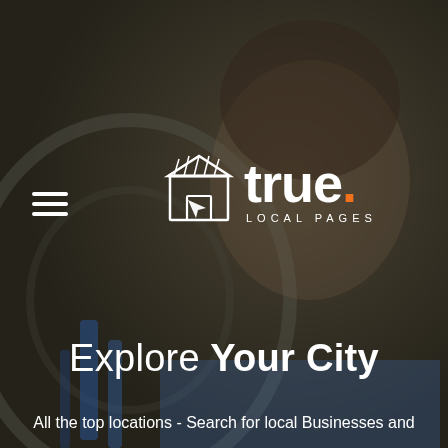[Figure (photo): Background photo of a bearded man in a blue striped shirt in a workshop with bicycle equipment, overlaid with a dark semi-transparent layer]
[Figure (logo): True Local Pages logo: white store/shop icon with arrow, and text 'true.' with orange dot followed by 'LOCAL PAGES' in spaced capitals]
Explore Your City
All the top locations - Search for local Businesses and